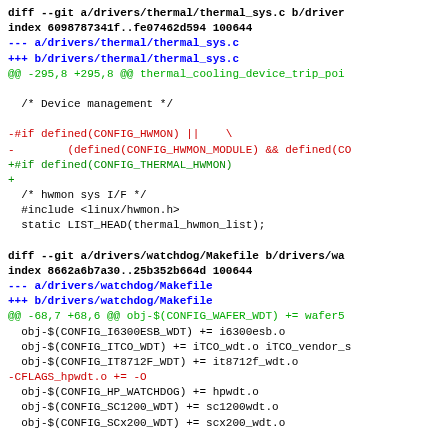diff --git a/drivers/thermal/thermal_sys.c b/drivers/thermal/thermal_sys.c
index 6098787341f..fe07462d594 100644
--- a/drivers/thermal/thermal_sys.c
+++ b/drivers/thermal/thermal_sys.c
@@ -295,8 +295,8 @@ thermal_cooling_device_trip_poi

   /* Device management */

-#if defined(CONFIG_HWMON) ||    \
-         (defined(CONFIG_HWMON_MODULE) && defined(CO
+#if defined(CONFIG_THERMAL_HWMON)
+
   /* hwmon sys I/F */
   #include <linux/hwmon.h>
   static LIST_HEAD(thermal_hwmon_list);

diff --git a/drivers/watchdog/Makefile b/drivers/watchdog/Makefile
index 8662a6b7a30..25b352b664d 100644
--- a/drivers/watchdog/Makefile
+++ b/drivers/watchdog/Makefile
@@ -68,7 +68,6 @@ obj-$(CONFIG_WAFER_WDT) += wafer5
   obj-$(CONFIG_I6300ESB_WDT) += i6300esb.o
   obj-$(CONFIG_ITCO_WDT) += iTCO_wdt.o iTCO_vendor_s
   obj-$(CONFIG_IT8712F_WDT) += it8712f_wdt.o
-CFLAGS_hpwdt.o += -O
   obj-$(CONFIG_HP_WATCHDOG) += hpwdt.o
   obj-$(CONFIG_SC1200_WDT) += sc1200wdt.o
   obj-$(CONFIG_SCx200_WDT) += scx200_wdt.o

diff --git a/drivers/xen/events.c b/drivers/xen/events.c
[Figure (screenshot): Git diff output showing changes to drivers/thermal/thermal_sys.c, drivers/watchdog/Makefile, and beginning of drivers/xen/events.c]